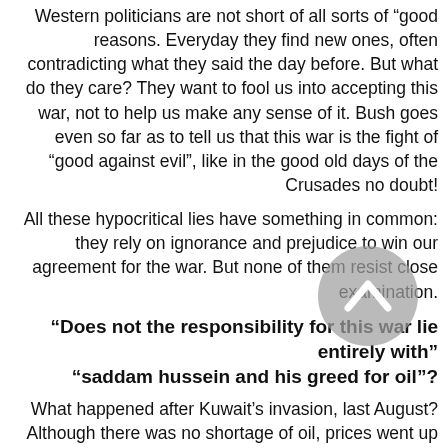Western politicians are not short of all sorts of "good reasons. Everyday they find new ones, often contradicting what they said the day before. But what do they care? They want to fool us into accepting this war, not to help us make any sense of it. Bush goes even so far as to tell us that this war is the fight of "good against evil", like in the good old days of the Crusades no doubt!
All these hypocritical lies have something in common: they rely on ignorance and prejudice to win our agreement for the war. But none of them resist close examination.
"Does not the responsibility for this war lie entirely with saddam hussein and his greed for oil"?
What happened after Kuwait's invasion, last August? Although there was no shortage of oil, prices went up and only returned to their previous level just before the war started. Who benefited from this increase? Not Saddam Hussein, as no buyer would take his oil. But the major international oil companies did, judging by the huge increases in their profit in the last quarter of 1990. Not surprising, either, BP and Shell and...